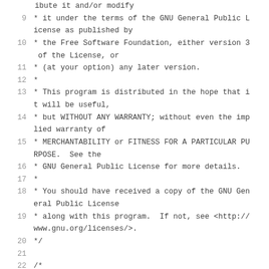ibute it and/or modify
9  * it under the terms of the GNU General Public License as published by
10  * the Free Software Foundation, either version 3 of the License, or
11  * (at your option) any later version.
12  *
13  * This program is distributed in the hope that it will be useful,
14  * but WITHOUT ANY WARRANTY; without even the implied warranty of
15  * MERCHANTABILITY or FITNESS FOR A PARTICULAR PURPOSE.  See the
16  * GNU General Public License for more details.
17  *
18  * You should have received a copy of the GNU General Public License
19  * along with this program.  If not, see <http://www.gnu.org/licenses/>.
20  */
21
22  /*
23  tim1 master, enable -> trgo